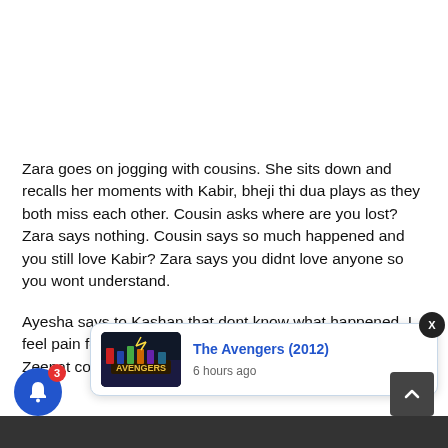Zara goes on jogging with cousins. She sits down and recalls her moments with Kabir, bheji thi dua plays as they both miss each other. Cousin asks where are you lost? Zara says nothing. Cousin says so much happened and you still love Kabir? Zara says you didnt love anyone so you wont understand.
Ayesha says to Kashan that dont know what happened. I feel pain for Ka... ants to live... they will se... happening? Zeenat comes there and sees divorce notic...
[Figure (screenshot): A notification popup showing 'The Avengers (2012)' with a movie thumbnail and timestamp '6 hours ago'. There is a close button (X) at top right. A blue bell notification button with badge '3' is at bottom left. A scroll-to-top arrow button is at bottom right.]